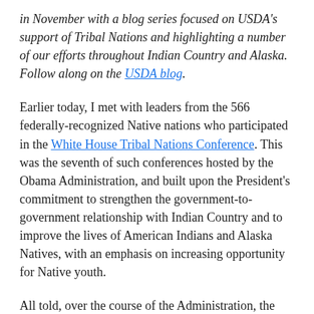in November with a blog series focused on USDA's support of Tribal Nations and highlighting a number of our efforts throughout Indian Country and Alaska. Follow along on the USDA blog.
Earlier today, I met with leaders from the 566 federally-recognized Native nations who participated in the White House Tribal Nations Conference. This was the seventh of such conferences hosted by the Obama Administration, and built upon the President's commitment to strengthen the government-to-government relationship with Indian Country and to improve the lives of American Indians and Alaska Natives, with an emphasis on increasing opportunity for Native youth.
All told, over the course of the Administration, the U.S. Department of Agriculture alone has invested nearly $3 billion in rural development projects that have helped Tribal members and in the homes of became more hiring and